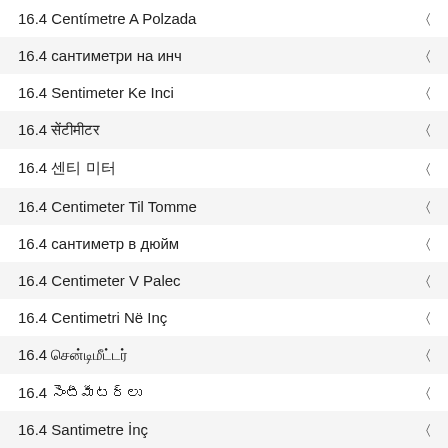16.4 Centímetre A Polzada
16.4 сантиметри на инч
16.4 Sentimeter Ke Inci
16.4 सेंटीमीटर
16.4 센티 미터
16.4 Centimeter Til Tomme
16.4 сантиметр в дюйм
16.4 Centimeter V Palec
16.4 Centimetri Në Inç
16.4 சென்டிமீட்டர்
16.4 సెంటీమీటర్లు
16.4 Santimetre İnç
16.4 сантиметр в дюйм